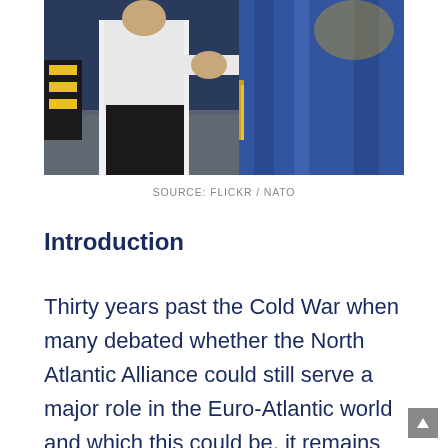[Figure (photo): Two people in formal attire shaking hands outdoors, one in white uniform, with a blue flag with gold fringe visible. Photo credited to Flickr / NATO.]
SOURCE: FLICKR / NATO
Introduction
Thirty years past the Cold War when many debated whether the North Atlantic Alliance could still serve a major role in the Euro-Atlantic world and which this could be, it remains